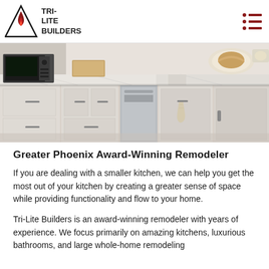[Figure (logo): Tri-Lite Builders logo: a red flame inside a triangle with the text TRI-LITE BUILDERS to the right]
[Figure (photo): A remodeled kitchen with white cabinetry and marble countertops. A stainless steel microwave and dishwasher are visible. The kitchen has a corner layout with light wood cutting boards and decorative items on the counter.]
Greater Phoenix Award-Winning Remodeler
If you are dealing with a smaller kitchen, we can help you get the most out of your kitchen by creating a greater sense of space while providing functionality and flow to your home.
Tri-Lite Builders is an award-winning remodeler with years of experience.  We focus primarily on amazing kitchens, luxurious bathrooms, and large whole-home remodeling